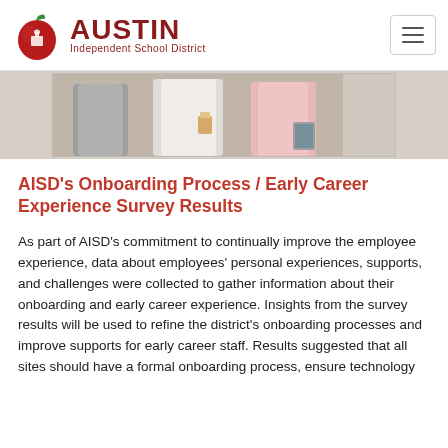AUSTIN Independent School District
[Figure (photo): Partial photo showing three people standing together from the torso down, one holding a coffee cup, another holding a tablet.]
AISD's Onboarding Process / Early Career Experience Survey Results
As part of AISD's commitment to continually improve the employee experience, data about employees' personal experiences, supports, and challenges were collected to gather information about their onboarding and early career experience. Insights from the survey results will be used to refine the district's onboarding processes and improve supports for early career staff. Results suggested that all sites should have a formal onboarding process, ensure technology